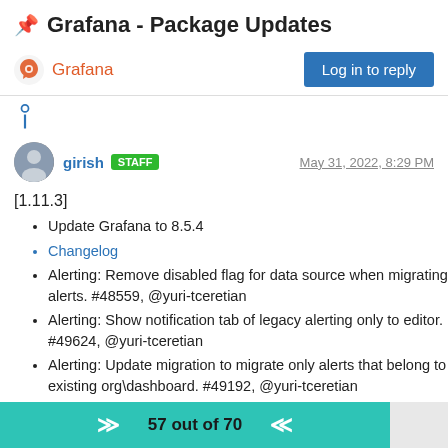📌 Grafana - Package Updates
Grafana | Log in to reply
[1.11.3]
Update Grafana to 8.5.4
Changelog
Alerting: Remove disabled flag for data source when migrating alerts. #48559, @yuri-tceretian
Alerting: Show notification tab of legacy alerting only to editor. #49624, @yuri-tceretian
Alerting: Update migration to migrate only alerts that belong to existing org\dashboard. #49192, @yuri-tceretian
AzureMonitor: Do not quote variables when a custom "All" variable option is used. #49428, @andresmgot
AzureMonitor: Update allowed namespaces. #48468.
57 out of 70